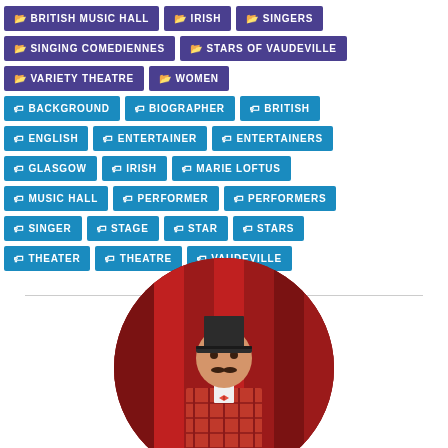BRITISH MUSIC HALL
IRISH
SINGERS
SINGING COMEDIENNES
STARS OF VAUDEVILLE
VARIETY THEATRE
WOMEN
BACKGROUND
BIOGRAPHER
BRITISH
ENGLISH
ENTERTAINER
ENTERTAINERS
GLASGOW
IRISH
MARIE LOFTUS
MUSIC HALL
PERFORMER
PERFORMERS
SINGER
STAGE
STAR
STARS
THEATER
THEATRE
VAUDEVILLE
[Figure (photo): Circular portrait photo of a performer in a red plaid jacket, top hat, and red bow tie, standing in front of a red curtain backdrop]